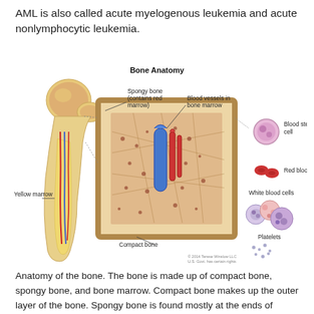AML is also called acute myelogenous leukemia and acute nonlymphocytic leukemia.
[Figure (illustration): Bone Anatomy diagram showing a femur cross-section with labels: Spongy bone (contains red marrow), Blood vessels in bone marrow, Yellow marrow, Compact bone. On the right side, enlarged views of Blood stem cell, Red blood cells, White blood cells, and Platelets are shown.]
Anatomy of the bone. The bone is made up of compact bone, spongy bone, and bone marrow. Compact bone makes up the outer layer of the bone. Spongy bone is found mostly at the ends of bones and contains red marrow. Bone marrow is found in the center of most bones and has many blood vessels. There